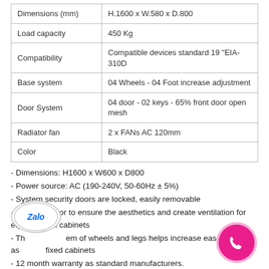| Dimensions (mm) | H.1600 x W.580 x D.800 |
| Load capacity | 450 Kg |
| Compatibility | Compatible devices standard 19 "EIA-310D |
| Base system | 04 Wheels - 04 Foot increase adjustment |
| Door System | 04 door - 02 keys - 65% front door open mesh |
| Radiator fan | 2 x FANs AC 120mm |
| Color | Black |
- Dimensions: H1600 x W600 x D800
- Power source: AC (190-240V, 50-60Hz ± 5%)
- System security doors are locked, easily removable
- The front door to ensure the aesthetics and create ventilation for equipment in cabinets
- The system of wheels and legs helps increase ease of movement as well as fixed cabinets
- 12 month warranty as standard manufacturers.